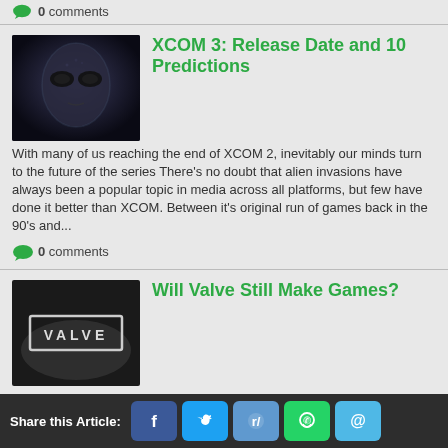0 comments
[Figure (photo): Dark moody alien face looking at camera]
XCOM 3: Release Date and 10 Predictions
With many of us reaching the end of XCOM 2, inevitably our minds turn to the future of the series There's no doubt that alien invasions have always been a popular topic in media across all platforms, but few have done it better than XCOM. Between it's original run of games back in the 90's and...
0 comments
[Figure (photo): Valve logo on dark background with glowing center]
Will Valve Still Make Games?
Steam has kept Valve from making new content, among other changes In the past, Valve focused on innovative first-person shooters, large-scale puzzle games, and challenging competitive games.  More recently, the company's Steam platform has been a lucrative source of income for Valve...
Share this Article: